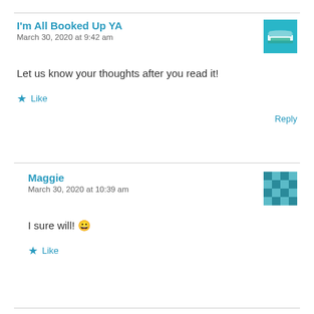I'm All Booked Up YA
March 30, 2020 at 9:42 am
Let us know your thoughts after you read it!
Like
Reply
Maggie
March 30, 2020 at 10:39 am
I sure will! 😀
Like